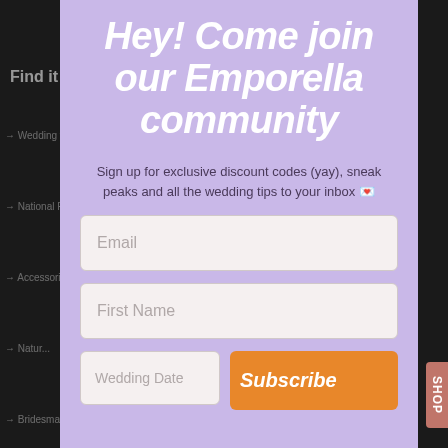Hey! Come join our Emporella community
Sign up for exclusive discount codes (yay), sneak peaks and all the wedding tips to your inbox 💌
Email
First Name
Wedding Date
Subscribe